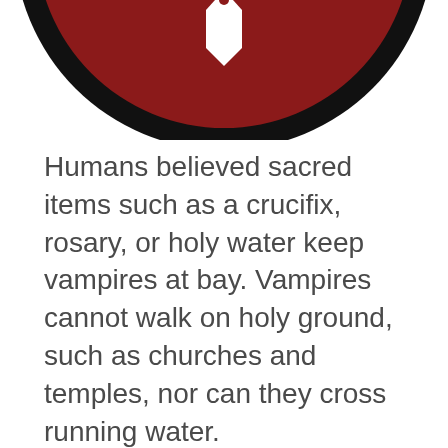[Figure (illustration): Partial view of a dark red and black circular emblem or badge, cropped at the top of the page, showing the lower portion of the circle with a white shield/tag shape in the center.]
Humans believed sacred items such as a crucifix, rosary, or holy water keep vampires at bay. Vampires cannot walk on holy ground, such as churches and temples, nor can they cross running water.